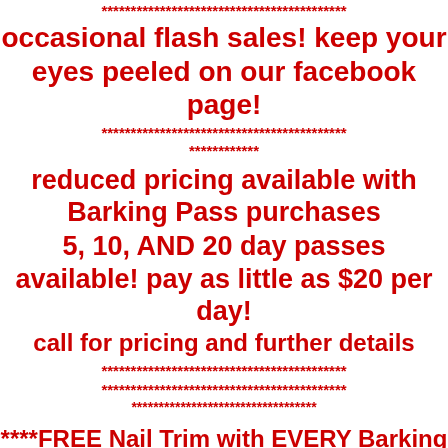******************************************
occasional flash sales!  keep your eyes peeled on our facebook page!
******************************************
************
reduced pricing available with Barking Pass purchases
5, 10, AND 20 day passes available!  pay as little as $20 per day!
call for pricing and further details
******************************************
******************************************
**********************************
****FREE Nail Trim with EVERY Barking